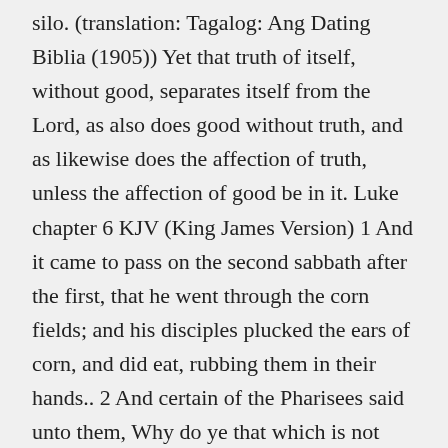silo. (translation: Tagalog: Ang Dating Biblia (1905)) Yet that truth of itself, without good, separates itself from the Lord, as also does good without truth, and as likewise does the affection of truth, unless the affection of good be in it. Luke chapter 6 KJV (King James Version) 1 And it came to pass on the second sabbath after the first, that he went through the corn fields; and his disciples plucked the ears of corn, and did eat, rubbing them in their hands.. 2 And certain of the Pharisees said unto them, Why do ye that which is not lawful to do on the sabbath days?. 2 May nakita siyang dalawang bangka sa tabi ng lawa; wala sa mga bangka ang mga mangingisda kundi nasa lawa at naglilinis ng kanilang mga lambat. And